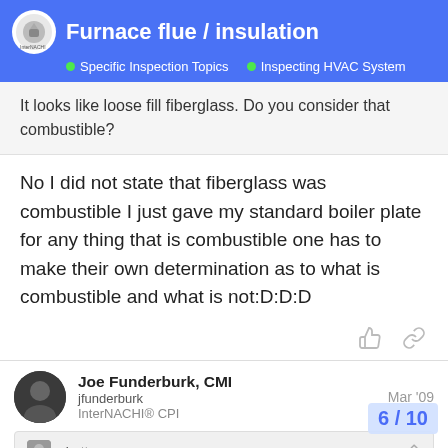Furnace flue / insulation — Specific Inspection Topics — Inspecting HVAC System
It looks like loose fill fiberglass. Do you consider that combustible?
No I did not state that fiberglass was combustible I just gave my standard boiler plate for any thing that is combustible one has to make their own determination as to what is combustible and what is not:D:D:D
Joe Funderburk, CMI
jfunderburk
InterNACHI® CPI
Mar '09
cbottger:
No I did not state that fiberglass was combustible I just gave my standard boiler plate for any thing th… one has to make their own determinatio…
6 / 10